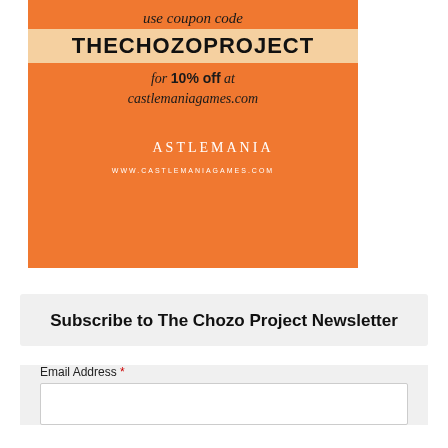[Figure (infographic): Castlemania Games advertisement with orange background. Text reads: use coupon code THECHOZOPROJECT for 10% off at castlemaniagames.com. Includes Castlemania logo with crescent moon icon and website URL.]
Subscribe to The Chozo Project Newsletter
Email Address *